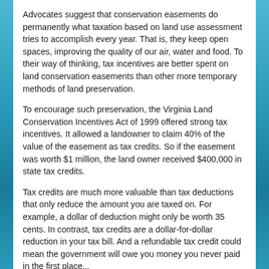Advocates suggest that conservation easements do permanently what taxation based on land use assessment tries to accomplish every year. That is, they keep open spaces, improving the quality of our air, water and food. To their way of thinking, tax incentives are better spent on land conservation easements than other more temporary methods of land preservation.
To encourage such preservation, the Virginia Land Conservation Incentives Act of 1999 offered strong tax incentives. It allowed a landowner to claim 40% of the value of the easement as tax credits. So if the easement was worth $1 million, the land owner received $400,000 in state tax credits.
Tax credits are much more valuable than tax deductions that only reduce the amount you are taxed on. For example, a dollar of deduction might only be worth 35 cents. In contrast, tax credits are a dollar-for-dollar reduction in your tax bill. And a refundable tax credit could mean the government will owe you money you never paid in the first place...